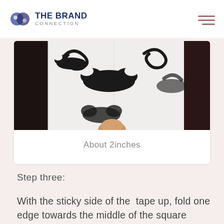THE BRAND CONNECTION
[Figure (photo): A hand holding a white fabric or paper with large black mustache patterns printed on it, against a dark background.]
About 2inches
Step three:
With the sticky side of the tape up, fold one edge towards the middle of the square Leave